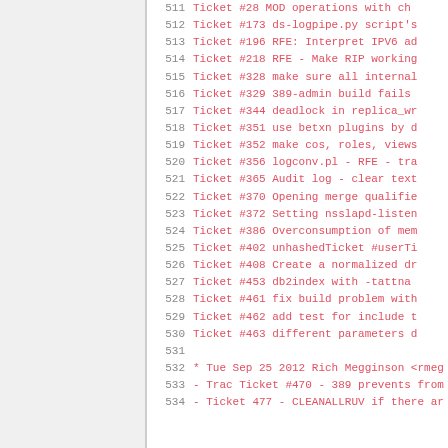Code listing lines 511-534 showing ticket references and changelog entries